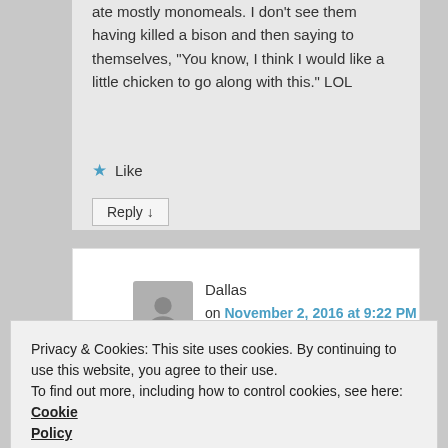ate mostly monomeals. I don’t see them having killed a bison and then saying to themselves, “You know, I think I would like a little chicken to go along with this.” LOL
★ Like
Reply ↓
Dallas
on November 2, 2016 at 9:22 PM said:
Privacy & Cookies: This site uses cookies. By continuing to use this website, you agree to their use.
To find out more, including how to control cookies, see here: Cookie Policy
Close and accept
cleaning it which it couldn’t do before